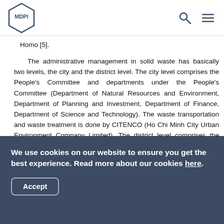MDPI [logo]
Homo [5].
The administrative management in solid waste has basically two levels, the city and the district level. The city level comprises the People's Committee and departments under the People's Committee (Department of Natural Resources and Environment, Department of Planning and Investment, Department of Finance, Department of Science and Technology). The waste transportation and waste treatment is done by CITENCO (Ho Chi Minh City Urban Environment Company Limited). The district level comprises the People's Committee of district which appoints the Department of Natural Resources and Environment of the district to manage the
We use cookies on our website to ensure you get the best experience. Read more about our cookies here. Accept